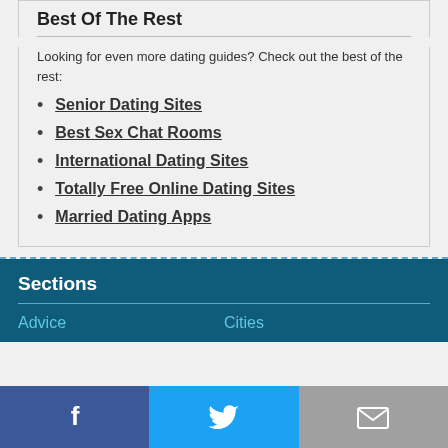Best Of The Rest
Looking for even more dating guides? Check out the best of the rest:
Senior Dating Sites
Best Sex Chat Rooms
International Dating Sites
Totally Free Online Dating Sites
Married Dating Apps
Sections
Advice	Cities